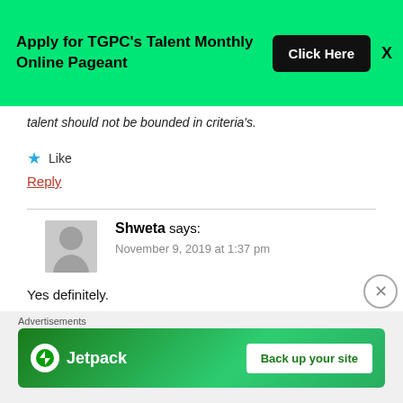[Figure (screenshot): Green banner advertisement: 'Apply for TGPC's Talent Monthly Online Pageant' with a black 'Click Here' button and an X close button]
talent should not be bounded in criteria's.
Like
Reply
Shweta says: November 9, 2019 at 1:37 pm
Yes definitely.
They should remove hieght criteria.
Advertisements
[Figure (screenshot): Jetpack advertisement banner: green background with Jetpack logo and 'Back up your site' button]